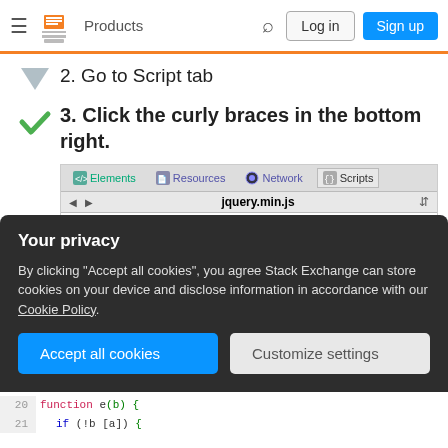Stack Overflow — Products  Log in  Sign up
2. Go to Script tab
3. Click the curly braces in the bottom right.
[Figure (screenshot): Browser developer tools screenshot showing jQuery.min.js file content in the Scripts tab, with lines 1-10 of the file visible showing jQuery JavaScript Library v1.5.2 copyright header comment]
[Figure (screenshot): Privacy consent overlay with title 'Your privacy', body text about accepting cookies for Stack Exchange, and two buttons: 'Accept all cookies' and 'Customize settings']
[Figure (screenshot): Bottom portion of code view showing lines 20-21 with function and if statements]